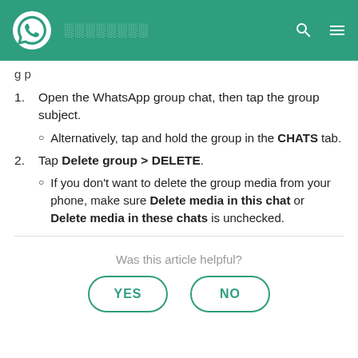WhatsApp - header with logo and nav icons
g... p...
1. Open the WhatsApp group chat, then tap the group subject.
Alternatively, tap and hold the group in the CHATS tab.
2. Tap Delete group > DELETE.
If you don't want to delete the group media from your phone, make sure Delete media in this chat or Delete media in these chats is unchecked.
Was this article helpful?
YES   NO